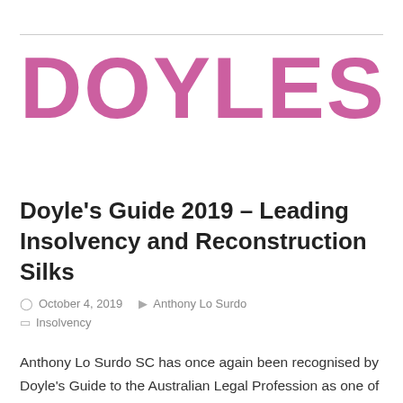[Figure (logo): Doyles logo in large pink/mauve bold uppercase text]
Doyle's Guide 2019 – Leading Insolvency and Reconstruction Silks
October 4, 2019   Anthony Lo Surdo
Insolvency
Anthony Lo Surdo SC has once again been recognised by Doyle's Guide to the Australian Legal Profession as one of the country's leading insolvency and